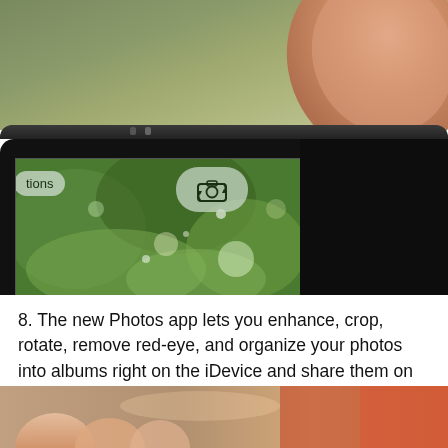[Figure (photo): A hand holding a smartphone (iPhone) from above, showing the camera app interface on the screen with a green leafy background visible on the phone display. Two UI buttons are visible: a partially visible 'tions' (Options) button on the left and a camera flip/rotate button in the center. The phone body is dark/black.]
8. The new Photos app lets you enhance, crop, rotate, remove red-eye, and organize your photos into albums right on the iDevice and share them on the go.
[Figure (photo): Partial view of fingers holding a device, with a blurred red/orange background, visible at the very bottom of the page (cropped).]